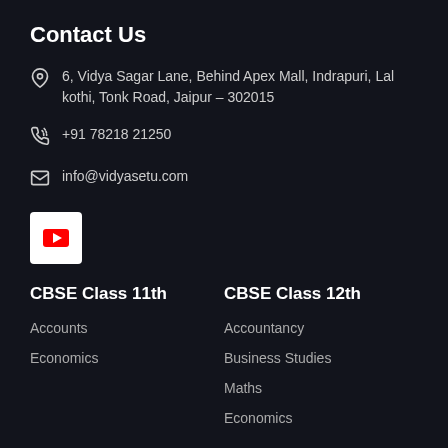Contact Us
6, Vidya Sagar Lane, Behind Apex Mall, Indrapuri, Lal kothi, Tonk Road, Jaipur - 302015
+91 78218 21250
info@vidyasetu.com
[Figure (logo): YouTube logo button, white square with red play button icon]
CBSE Class 11th
Accounts
Economics
CBSE Class 12th
Accountancy
Business Studies
Maths
Economics
Newsletter